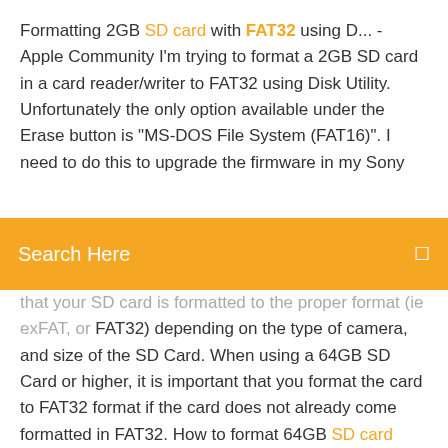Formatting 2GB SD card with FAT32 using D... - Apple Community I'm trying to format a 2GB SD card in a card reader/writer to FAT32 using Disk Utility. Unfortunately the only option available under the Erase button is "MS-DOS File System (FAT16)". I need to do this to upgrade the firmware in my Sony
[Figure (screenshot): Orange search bar with text 'Search Here' and a search icon on the right]
that your SD card is formatted to the proper format (ie exFAT, or FAT32) depending on the type of camera, and size of the SD Card. When using a 64GB SD Card or higher, it is important that you format the card to FAT32 format if the card does not already come formatted in FAT32. How to format 64GB SD card from exFAT to FAT32 | Tom's ... I have a Sandisk Ultra 64GB SD card and cannot get it to a FAT 32 format. Tried few links, no success. I'm using WIN 7 also. Tried few links, no success. I'm using WIN 7 also. Fix/recover unreadable SD cards on Mac without data loss